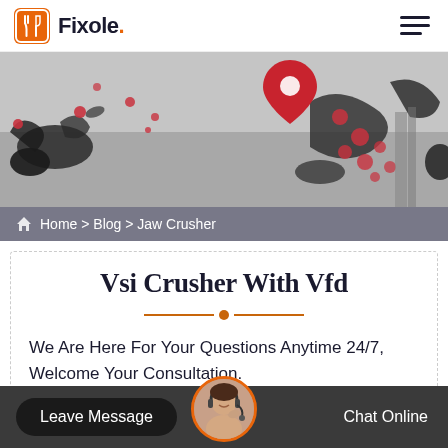Fixole.
[Figure (illustration): Hero banner with abstract map/location imagery: black ink splatter shapes, red location pin, pink/red circular dots on a gray background]
Home > Blog > Jaw Crusher
Vsi Crusher With Vfd
We Are Here For Your Questions Anytime 24/7, Welcome Your Consultation.
Leave Message   Chat Online